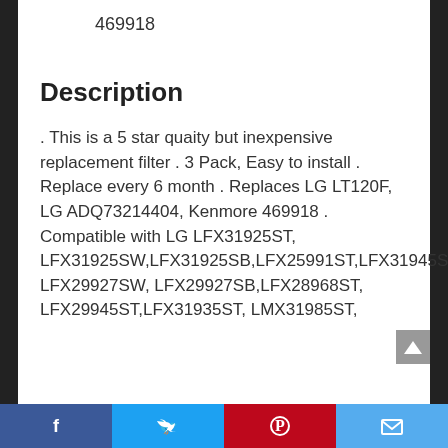469918
Description
. This is a 5 star quaity but inexpensive replacement filter . 3 Pack, Easy to install . Replace every 6 month . Replaces LG LT120F, LG ADQ73214404, Kenmore 469918 . Compatible with LG LFX31925ST, LFX31925SW,LFX31925SB,LFX25991ST,LFX31945ST,LFX329345ST,LFX33975ST,LFX29927ST, LFX29927SW, LFX29927SB,LFX28968ST, LFX29945ST,LFX31935ST, LMX31985ST,
Facebook | Twitter | Pinterest | Email